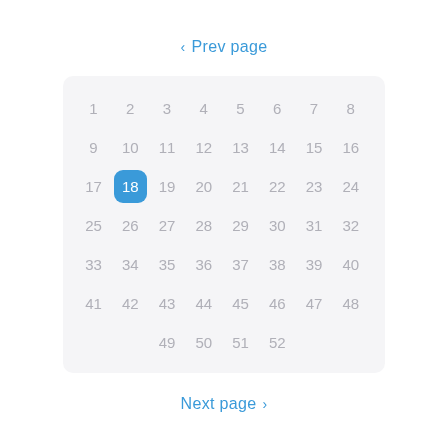< Prev page
[Figure (other): A grid/calendar-style numbered picker with numbers 1-52 arranged in 8 columns and 7 rows, with number 18 highlighted in blue. Numbers 1-48 fill the first 6 rows completely, row 7 has 49-52 in middle columns. Below the grid are Previous/Next page navigation links.]
Next page >